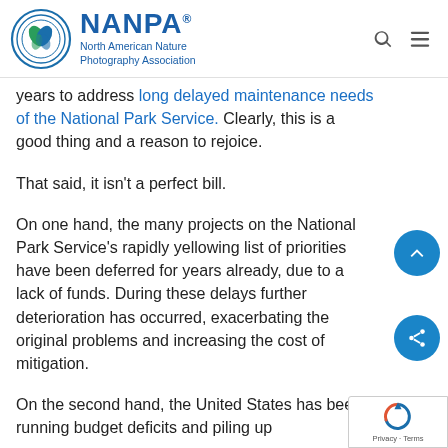NANPA North American Nature Photography Association
years to address long delayed maintenance needs of the National Park Service. Clearly, this is a good thing and a reason to rejoice.
That said, it isn't a perfect bill.
On one hand, the many projects on the National Park Service's rapidly yellowing list of priorities have been deferred for years already, due to a lack of funds. During these delays further deterioration has occurred, exacerbating the original problems and increasing the cost of mitigation.
On the second hand, the United States has been running budget deficits and piling up